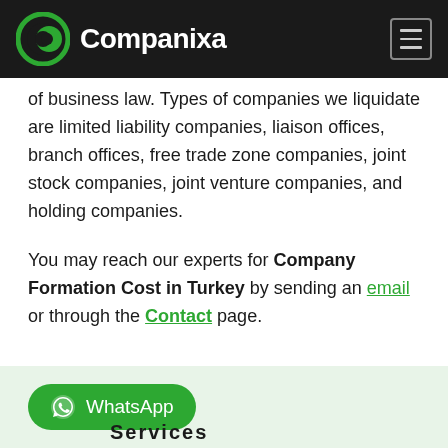Companixa [navigation header with logo and hamburger menu]
of business law. Types of companies we liquidate are limited liability companies, liaison offices, branch offices, free trade zone companies, joint stock companies, joint venture companies, and holding companies.
You may reach our experts for Company Formation Cost in Turkey by sending an email or through the Contact page.
[Figure (other): Green section with WhatsApp button and partially visible 'Services' text]